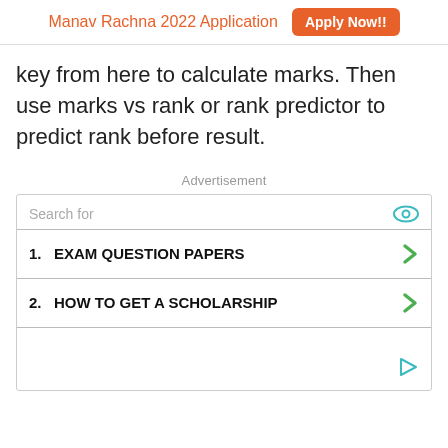Manav Rachna 2022 Application  Apply Now!!
key from here to calculate marks. Then use marks vs rank or rank predictor to predict rank before result.
Advertisement
[Figure (other): Advertisement block with search results: Search for / 1. EXAM QUESTION PAPERS / 2. HOW TO GET A SCHOLARSHIP]